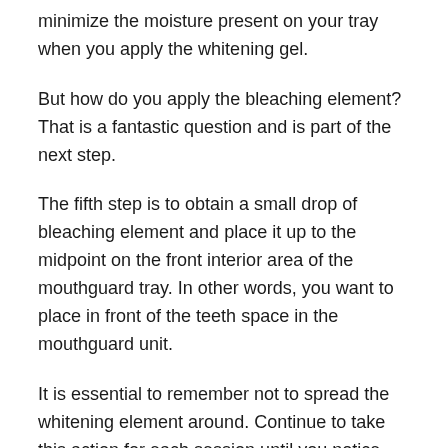minimize the moisture present on your tray when you apply the whitening gel.
But how do you apply the bleaching element? That is a fantastic question and is part of the next step.
The fifth step is to obtain a small drop of bleaching element and place it up to the midpoint on the front interior area of the mouthguard tray. In other words, you want to place in front of the teeth space in the mouthguard unit.
It is essential to remember not to spread the whitening element around. Continue to take this action for each session until you notice that the gel container is empty. Remember that the general treatment you require per area is only around 0.4ml of the bleaching element.
Of course, the other point to remember is that it is neces...